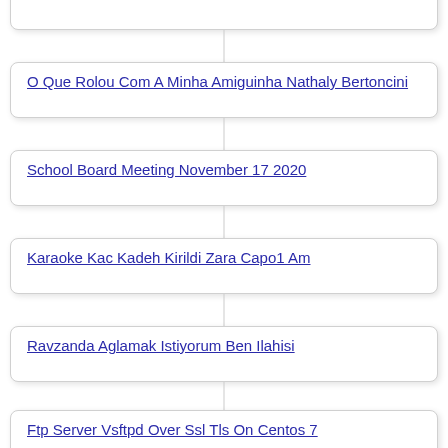Programming
O Que Rolou Com A Minha Amiguinha Nathaly Bertoncini
School Board Meeting November 17 2020
Karaoke Kac Kadeh Kirildi Zara Capo1 Am
Ravzanda Aglamak Istiyorum Ben Ilahisi
Ftp Server Vsftpd Over Ssl Tls On Centos 7